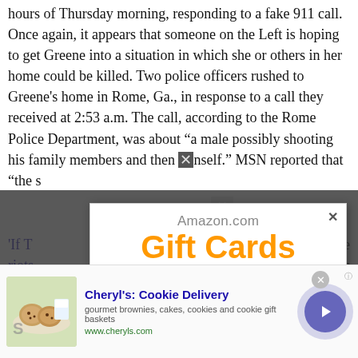hours of Thursday morning, responding to a fake 911 call. Once again, it appears that someone on the Left is hoping to get Greene into a situation in which she or others in her home could be killed. Two police officers rushed to Greene's home in Rome, Ga., in response to a call they received at 2:53 a.m. The call, according to the Rome Police Department, was about "a male possibly shooting his family members and then [him]self." MSN reported that "the s[uspects]...
'If T[rump supporters had done this...]... riots... GO[P]... thre[e]...
[Figure (screenshot): Amazon.com Gift Cards popup advertisement overlaying the article, showing three gift card images: happy birthday, Amazon Kindle, and Congratulations.]
[Figure (screenshot): Bottom banner ad for Cheryl's Cookie Delivery with image of cookies/baked goods, text 'gourmet brownies, cakes, cookies and cookie gift baskets', url www.cheryls.com, and a blue circular arrow button.]